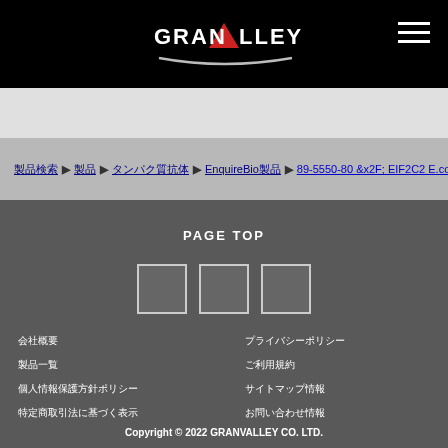[Figure (logo): GRANVALLEY logo with red triangle and silver swoosh on black background]
製品検索 ▶ 製品 ▶ タンパク質抗体 ▶ EnquireBio製品 ▶ 89-5550-80 &x2F; EIF2C2 E.coli &x
PAGE TOP
[Figure (other): Three square social media icon placeholders]
会社概要
製品一覧
個人情報保護方針ポリシー
特定商取引法に基づく表示
プライバシーポリシー
ご利用規約
サイトマップ情報
お問い合わせ情報
Copyright © 2022 GRANVALLEY CO. LTD.